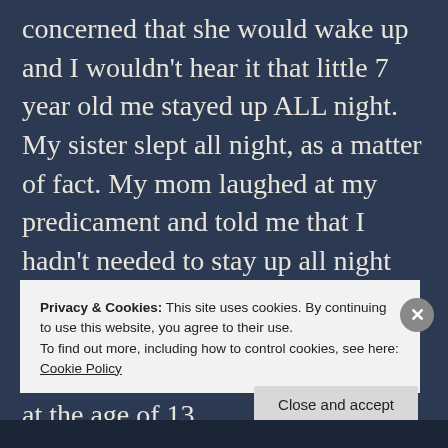concerned that she would wake up and I wouldn't hear it that little 7 year old me stayed up ALL night. My sister slept all night, as a matter of fact. My mom laughed at my predicament and told me that I hadn't needed to stay up all night and that my sister would have been okay (she was about a year at that point). My first job was babysitting at the age of 13,
Privacy & Cookies: This site uses cookies. By continuing to use this website, you agree to their use.
To find out more, including how to control cookies, see here:
Cookie Policy
Close and accept